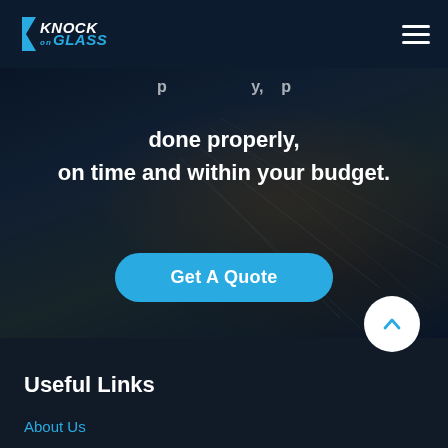Knock on Glass logo and navigation
[Figure (screenshot): Hero banner with dark overlay showing a person working with tools/grinder with sparks, text overlay reads: done properly, on time and within your budget. with a Get A Quote button]
done properly, on time and within your budget.
Get A Quote
Useful Links
About Us